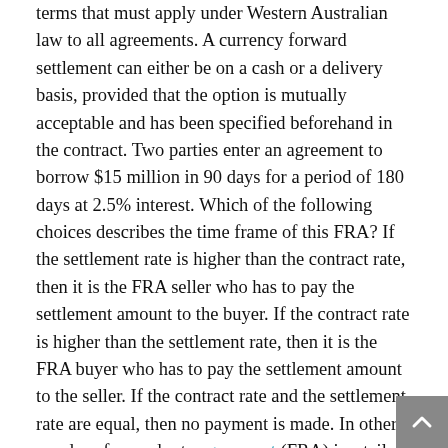terms that must apply under Western Australian law to all agreements. A currency forward settlement can either be on a cash or a delivery basis, provided that the option is mutually acceptable and has been specified beforehand in the contract. Two parties enter an agreement to borrow $15 million in 90 days for a period of 180 days at 2.5% interest. Which of the following choices describes the time frame of this FRA? If the settlement rate is higher than the contract rate, then it is the FRA seller who has to pay the settlement amount to the buyer. If the contract rate is higher than the settlement rate, then it is the FRA buyer who has to pay the settlement amount to the seller. If the contract rate and the settlement rate are equal, then no payment is made. In other words, a forward rate agreement (FRA) is a tailor-made, over-the-counter financial futures contract on short-term deposits. NAFTA boosted Mexican farm exports to the United States, which have tripled since the pacts implementation. Hundreds of thousands of auto manufacturing jobs have also been created in the country, and most studies have found [PDF] that the agreement increased productivity and lowered consumer prices in Mexico. Although NAFTA failed to deliver all that its proponents had promised, it continued to remain in effect. Indeed, in 2004 the Central America Free Trade Agreement (CAFTA) expanded NAFTA to include five Central American countries (El Salvador, Guatemala, Honduras, Costa Rica, and Nicaragua). In the same year the Dominican...